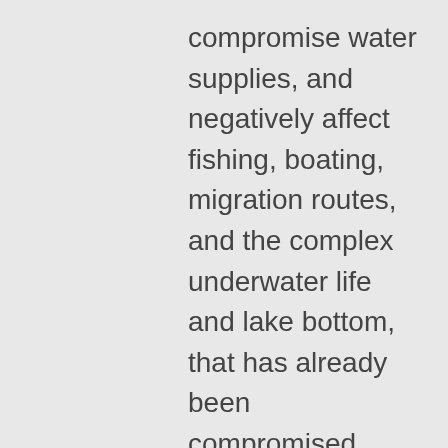compromise water supplies, and negatively affect fishing, boating, migration routes, and the complex underwater life and lake bottom, that has already been compromised over time.